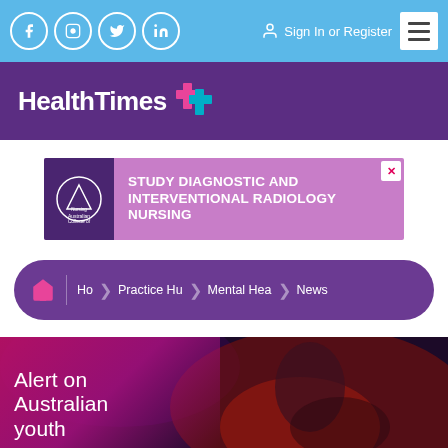Social icons (Facebook, Instagram, Twitter, LinkedIn) | Sign In or Register | Menu
[Figure (logo): HealthTimes logo with purple cross icon on purple background]
[Figure (infographic): Ad banner: Australian College of Nursing - STUDY DIAGNOSTIC AND INTERVENTIONAL RADIOLOGY NURSING]
Home > Practice Hub > Mental Health > News breadcrumb navigation
[Figure (photo): Hero image: young person holding head in hands under red light, with text overlay 'Alert on Australian youth']